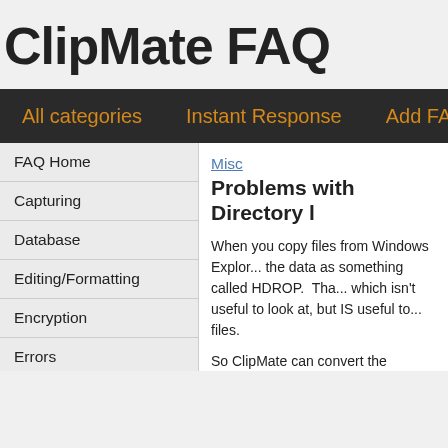ClipMate FAQ
All categories   Instant Response   Add FAQ   Add quest
FAQ Home
Capturing
Database
Editing/Formatting
Encryption
Errors
Installation
Misc
Pasting
Misc
Problems with Directory l
When you copy files from Windows Explor... the data as something called HDROP.  Tha... which isn't useful to look at, but IS useful to... files.
So ClipMate can convert the HDROP into T... and listing the contents.  You can turn this... Edit Rules.
So with that option turned on, you get both... This is often good enough.  However, the...